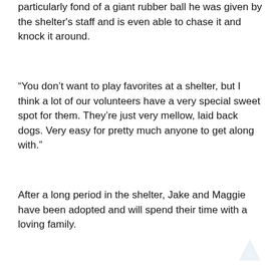particularly fond of a giant rubber ball he was given by the shelter's staff and is even able to chase it and knock it around.
“You don’t want to play favorites at a shelter, but I think a lot of our volunteers have a very special sweet spot for them. They’re just very mellow, laid back dogs. Very easy for pretty much anyone to get along with.”
After a long period in the shelter, Jake and Maggie have been adopted and will spend their time with a loving family.
The inseparable bond between this dog and his mom is truly heartwarming to see.